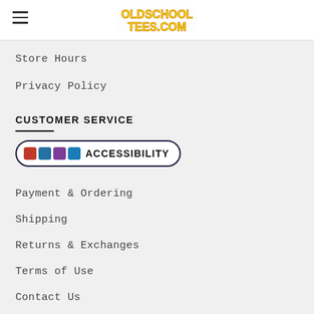OldSchoolTees.com logo and hamburger menu
Store Hours
Privacy Policy
CUSTOMER SERVICE
[Figure (other): Accessibility button with four colored icons and the text ACCESSIBILITY]
Payment & Ordering
Shipping
Returns & Exchanges
Terms of Use
Contact Us
Sitemap